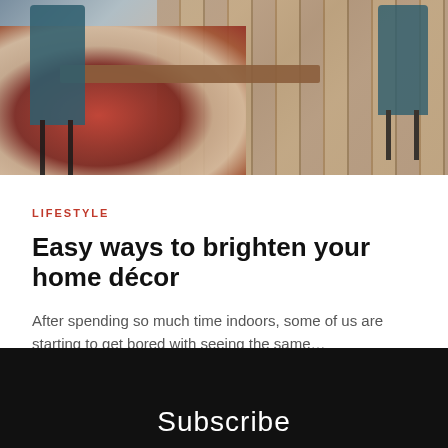[Figure (photo): Interior photo showing chairs with dark legs around a wooden table on a red patterned rug, wooden floor visible in background]
LIFESTYLE
Easy ways to brighten your home décor
After spending so much time indoors, some of us are starting to get bored with seeing the same…
by James Vines
Subscribe